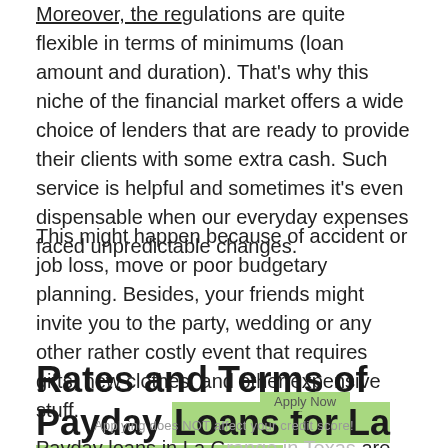Moreover, the regulations are quite flexible in terms of minimums (loan amount and duration). That's why this niche of the financial market offers a wide choice of lenders that are ready to provide their clients with some extra cash. Such service is helpful and sometimes it's even dispensable when our everyday expenses faced unpredictable changes.
This might happen because of accident or job loss, move or poor budgetary planning. Besides, your friends might invite you to the party, wedding or any other rather costly event that requires gifts, new clothes, and other expensive stuff.
Rates and Terms of Payday Loans for La Grange, Texas
Applying does NOT affect your credit score!
Payday loans in La Grange in Texas are remarkable for